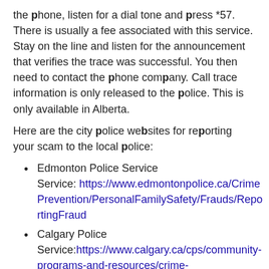the phone, listen for a dial tone and press *57. There is usually a fee associated with this service. Stay on the line and listen for the announcement that verifies the trace was successful. You then need to contact the phone company. Call trace information is only released to the police. This is only available in Alberta.
Here are the city police websites for reporting your scam to the local police:
Edmonton Police Service Service: https://www.edmontonpolice.ca/CrimePrevention/PersonalFamilySafety/Frauds/ReportingFraud
Calgary Police Service:https://www.calgary.ca/cps/community-programs-and-resources/crime-prevention/reporting-online-crime.html